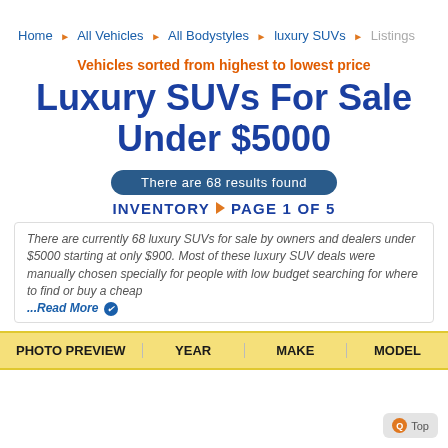Home ▶ All Vehicles ▶ All Bodystyles ▶ luxury SUVs ▶ Listings
Vehicles sorted from highest to lowest price
Luxury SUVs For Sale Under $5000
There are 68 results found
INVENTORY ◆ PAGE 1 OF 5
There are currently 68 luxury SUVs for sale by owners and dealers under $5000 starting at only $900. Most of these luxury SUV deals were manually chosen specially for people with low budget searching for where to find or buy a cheap ...Read More
| PHOTO PREVIEW | YEAR | MAKE | MODEL |
| --- | --- | --- | --- |